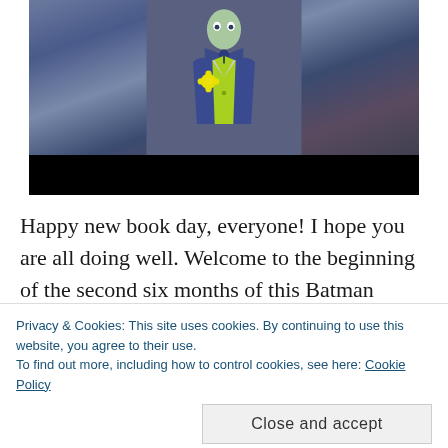[Figure (screenshot): YouTube video embed showing a cartoon character (Joker in blue suit with bow tie, green shirt, yellow flower) with YouTube play button overlay and black bar at bottom]
Happy new book day, everyone! I hope you are all doing well. Welcome to the beginning of the second six months of this Batman column.
Privacy & Cookies: This site uses cookies. By continuing to use this website, you agree to their use.
To find out more, including how to control cookies, see here: Cookie Policy